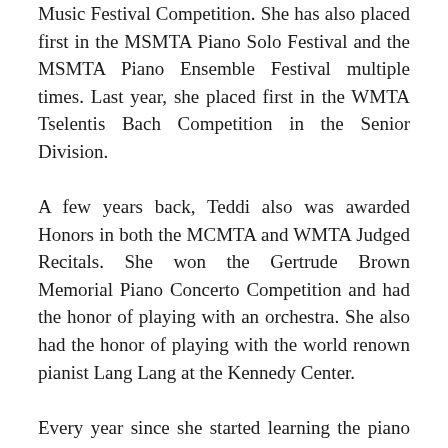Music Festival Competition. She has also placed first in the MSMTA Piano Solo Festival and the MSMTA Piano Ensemble Festival multiple times. Last year, she placed first in the WMTA Tselentis Bach Competition in the Senior Division.
A few years back, Teddi also was awarded Honors in both the MCMTA and WMTA Judged Recitals. She won the Gertrude Brown Memorial Piano Concerto Competition and had the honor of playing with an orchestra. She also had the honor of playing with the world renown pianist Lang Lang at the Kennedy Center.
Every year since she started learning the piano with Ms. Kellert, she has earned all Outstanding +'s on her Keyboard Musicianship Tests and earned both the Elementary and Junior Distinguished Musicianship